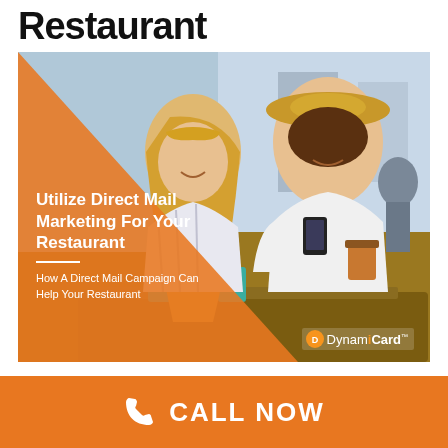Restaurant
[Figure (illustration): Two women smiling at an outdoor restaurant cafe patio, one holding a phone and coffee cup. An orange triangle overlay covers the left portion of the image. White text overlay reads: Utilize Direct Mail Marketing For Your Restaurant — How A Direct Mail Campaign Can Help Your Restaurant. DynamiCard logo in lower right.]
Utilize Direct Mail Marketing For Your Restaurant
How A Direct Mail Campaign Can Help Your Restaurant
CALL NOW